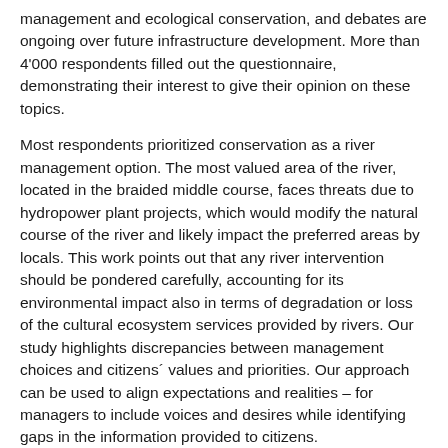management and ecological conservation, and debates are ongoing over future infrastructure development. More than 4'000 respondents filled out the questionnaire, demonstrating their interest to give their opinion on these topics.
Most respondents prioritized conservation as a river management option. The most valued area of the river, located in the braided middle course, faces threats due to hydropower plant projects, which would modify the natural course of the river and likely impact the preferred areas by locals. This work points out that any river intervention should be pondered carefully, accounting for its environmental impact also in terms of degradation or loss of the cultural ecosystem services provided by rivers. Our study highlights discrepancies between management choices and citizens´ values and priorities. Our approach can be used to align expectations and realities – for managers to include voices and desires while identifying gaps in the information provided to citizens.
To learn more about our research on the Tagliamento River, here is the reference to our current article:
Anna Scaini, Ana Stritih, Constance Brouillet, Chiara Scaini (2022): What locals want: citizen preferences and priorities for the Tagliamento River. In: Environmental Research Letters, Volume 17, Number 2, 025008